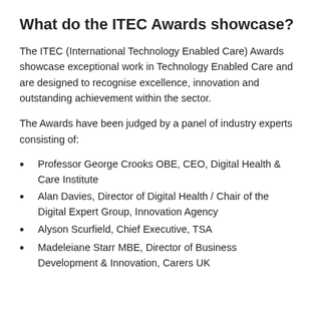What do the ITEC Awards showcase?
The ITEC (International Technology Enabled Care) Awards showcase exceptional work in Technology Enabled Care and are designed to recognise excellence, innovation and outstanding achievement within the sector.
The Awards have been judged by a panel of industry experts consisting of:
Professor George Crooks OBE, CEO, Digital Health & Care Institute
Alan Davies, Director of Digital Health / Chair of the Digital Expert Group, Innovation Agency
Alyson Scurfield, Chief Executive, TSA
Madeleiane Starr MBE, Director of Business Development & Innovation, Carers UK